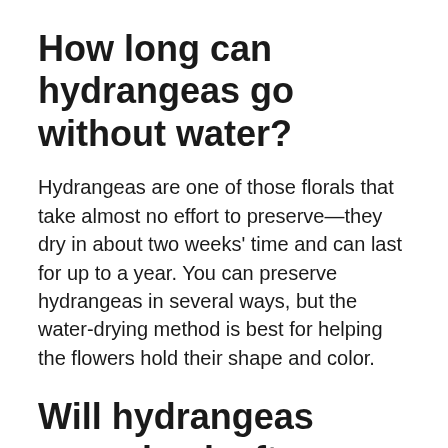How long can hydrangeas go without water?
Hydrangeas are one of those florals that take almost no effort to preserve—they dry in about two weeks' time and can last for up to a year. You can preserve hydrangeas in several ways, but the water-drying method is best for helping the flowers hold their shape and color.
Will hydrangeas come back after wilting?
Flower Wilt
Cut off the old blooms to improve the plants